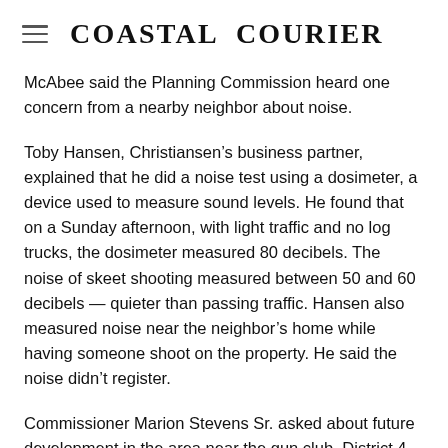Coastal Courier
McAbee said the Planning Commission heard one concern from a nearby neighbor about noise.
Toby Hansen, Christiansen’s business partner, explained that he did a noise test using a dosimeter, a device used to measure sound levels. He found that on a Sunday afternoon, with light traffic and no log trucks, the dosimeter measured 80 decibels. The noise of skeet shooting measured between 50 and 60 decibels — quieter than passing traffic. Hansen also measured noise near the neighbor’s home while having someone shoot on the property. He said the noise didn’t register.
Commissioner Marion Stevens Sr. asked about future development in the area near the gun club. District 4 Commissioner Pat Bowen, whose district includes the planned